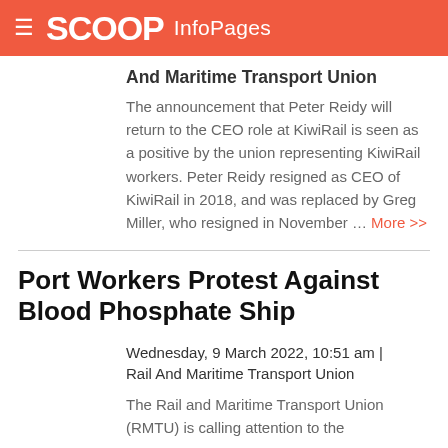SCOOP InfoPages
And Maritime Transport Union
The announcement that Peter Reidy will return to the CEO role at KiwiRail is seen as a positive by the union representing KiwiRail workers. Peter Reidy resigned as CEO of KiwiRail in 2018, and was replaced by Greg Miller, who resigned in November ... More >>
Port Workers Protest Against Blood Phosphate Ship
Wednesday, 9 March 2022, 10:51 am | Rail And Maritime Transport Union
The Rail and Maritime Transport Union (RMTU) is calling attention to the